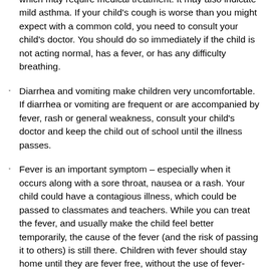which may require medical treatment. It may also indicate mild asthma. If your child's cough is worse than you might expect with a common cold, you need to consult your child's doctor. You should do so immediately if the child is not acting normal, has a fever, or has any difficulty breathing.
Diarrhea and vomiting make children very uncomfortable. If diarrhea or vomiting are frequent or are accompanied by fever, rash or general weakness, consult your child's doctor and keep the child out of school until the illness passes.
Fever is an important symptom – especially when it occurs along with a sore throat, nausea or a rash. Your child could have a contagious illness, which could be passed to classmates and teachers. While you can treat the fever, and usually make the child feel better temporarily, the cause of the fever (and the risk of passing it to others) is still there. Children with fever should stay home until they are fever free, without the use of fever-reducing medication (Tylenol, Motrin, etc.) for 48 hours.
Strep throat and scarlet fever are two highly contagious